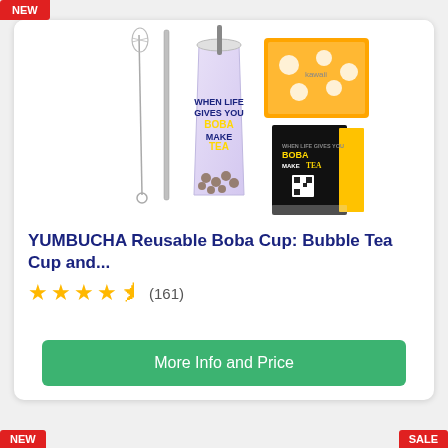[Figure (photo): Product photo showing YUMBUCHA reusable boba cup with metal straw, cleaning brush, kawaii sticker sheet, and branded black/yellow box. Cup is clear/purple gradient with 'WHEN LIFE GIVES YOU BOBA MAKE TEA' text and bubble graphics.]
YUMBUCHA Reusable Boba Cup: Bubble Tea Cup and...
★★★★½ (161)
More Info and Price
NEW
SALE